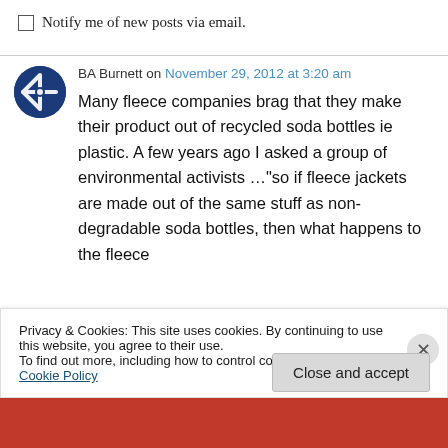Notify me of new posts via email.
BA Burnett on November 29, 2012 at 3:20 am
Many fleece companies brag that they make their product out of recycled soda bottles ie plastic. A few years ago I asked a group of environmental activists …"so if fleece jackets are made out of the same stuff as non-degradable soda bottles, then what happens to the fleece
Privacy & Cookies: This site uses cookies. By continuing to use this website, you agree to their use. To find out more, including how to control cookies, see here: Cookie Policy
Close and accept